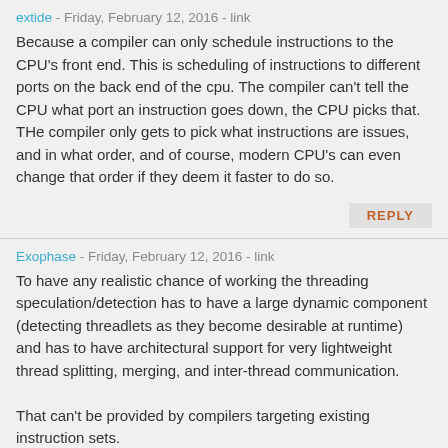extide - Friday, February 12, 2016 - link
Because a compiler can only schedule instructions to the CPU's front end. This is scheduling of instructions to different ports on the back end of the cpu. The compiler can't tell the CPU what port an instruction goes down, the CPU picks that. THe compiler only gets to pick what instructions are issues, and in what order, and of course, modern CPU's can even change that order if they deem it faster to do so.
REPLY
Exophase - Friday, February 12, 2016 - link
To have any realistic chance of working the threading speculation/detection has to have a large dynamic component (detecting threadlets as they become desirable at runtime) and has to have architectural support for very lightweight thread splitting, merging, and inter-thread communication.

That can't be provided by compilers targeting existing instruction sets.
REPLY
AlexTi - Friday, February 12, 2016 - link
Thanks, I think I got the point finally. This looks similar to what instruction scheduler currently does for execution units